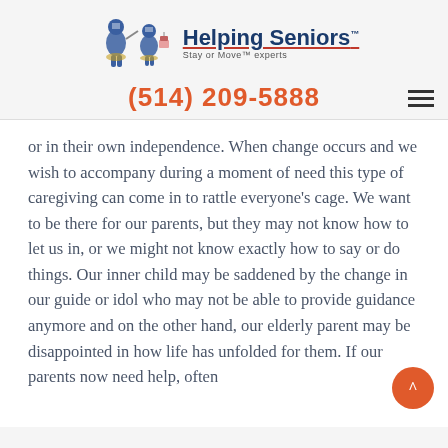[Figure (logo): Helping Seniors logo with two illustrated knight figures and text 'Helping Seniors Stay or Move Experts' with red underline]
(514) 209-5888
or in their own independence. When change occurs and we wish to accompany during a moment of need this type of caregiving can come in to rattle everyone's cage. We want to be there for our parents, but they may not know how to let us in, or we might not know exactly how to say or do things. Our inner child may be saddened by the change in our guide or idol who may not be able to provide guidance anymore and on the other hand, our elderly parent may be disappointed in how life has unfolded for them. If our parents now need help, often